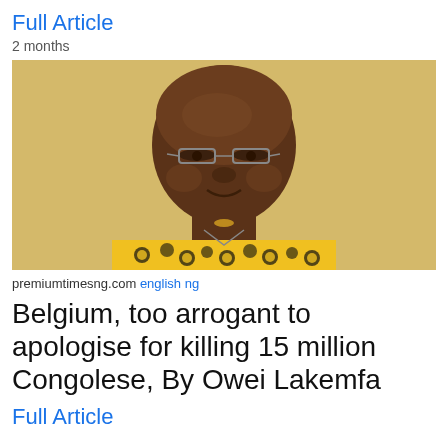Full Article
2 months
[Figure (photo): Portrait photo of a middle-aged African man with glasses, wearing a yellow and black patterned African print shirt, smiling slightly, against a beige background.]
premiumtimesng.com english ng
Belgium, too arrogant to apologise for killing 15 million Congolese, By Owei Lakemfa
Full Article